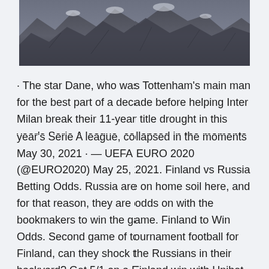[Figure (photo): Aerial/landscape photograph of rocky mountain terrain with snow patches, dark rocky surfaces visible at the top portion of the page.]
· The star Dane, who was Tottenham's main man for the best part of a decade before helping Inter Milan break their 11-year title drought in this year's Serie A league, collapsed in the moments May 30, 2021 · — UEFA EURO 2020 (@EURO2020) May 25, 2021. Finland vs Russia Betting Odds. Russia are on home soil here, and for that reason, they are odds on with the bookmakers to win the game. Finland to Win Odds. Second game of tournament football for Finland, can they shock the Russians in their backyard? Get 5/1 on a Finland win with Unibet BET NOW · UEFA Euro 2020 Denmark vs Finland Highlights: Finland had a debut to remember as they defeated Denmark 1-0 in Copenhagen